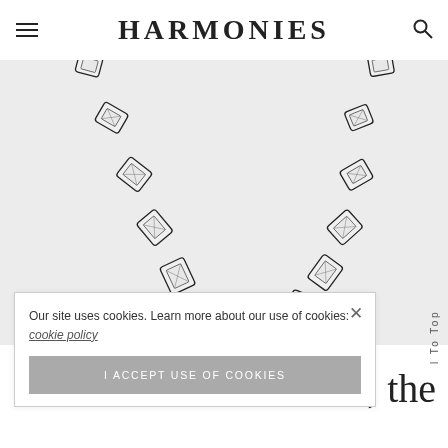HARMONIES
[Figure (illustration): Close-up illustration of a diamond necklace with multiple rectangular gemstone links arranged in a curved arc, shown on a light grey background. Each link is square/rectangular with a faceted diamond inside outlined in dark ink.]
Our site uses cookies. Learn more about our use of cookies: cookie policy
I ACCEPT USE OF COOKIES
Scroll To Top
ome, the